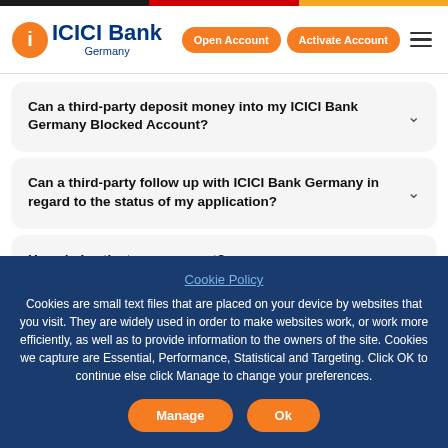[Figure (logo): ICICI Bank Germany logo with orange circular icon and blue text]
Can a third-party deposit money into my ICICI Bank Germany Blocked Account?
Can a third-party follow up with ICICI Bank Germany in regard to the status of my application?
How do I activate my account?
Cookie Policy
Cookies are small text files that are placed on your device by websites that you visit. They are widely used in order to make websites work, or work more efficiently, as well as to provide information to the owners of the site. Cookies we capture are Essential, Performance, Statistical and Targeting. Click OK to continue else click Manage to change your preferences.